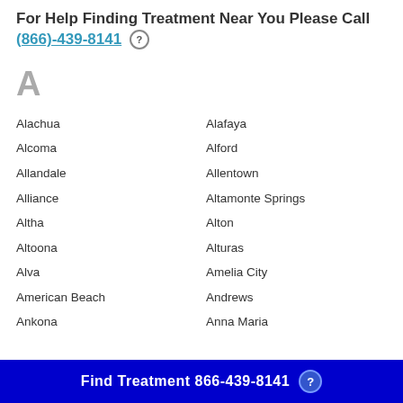For Help Finding Treatment Near You Please Call (866)-439-8141
A
Alachua
Alafaya
Alcoma
Alford
Allandale
Allentown
Alliance
Altamonte Springs
Altha
Alton
Altoona
Alturas
Alva
Amelia City
American Beach
Andrews
Ankona
Anna Maria
Find Treatment 866-439-8141